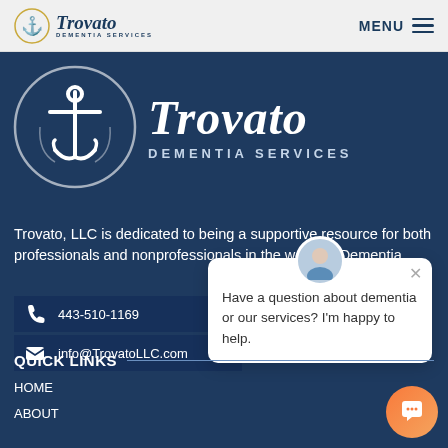[Figure (logo): Trovato Dementia Services logo in navbar with anchor icon and italic script text]
MENU
[Figure (logo): Large Trovato Dementia Services logo with white anchor in circle on dark navy background, italic script Trovato text and DEMENTIA SERVICES subtitle]
Trovato, LLC is dedicated to being a supportive resource for both professionals and nonprofessionals in the world of Dementia.
443-510-1169
info@TrovatoLLC.com
Have a question about dementia or our services? I'm happy to help.
QUICK LINKS
HOME
ABOUT